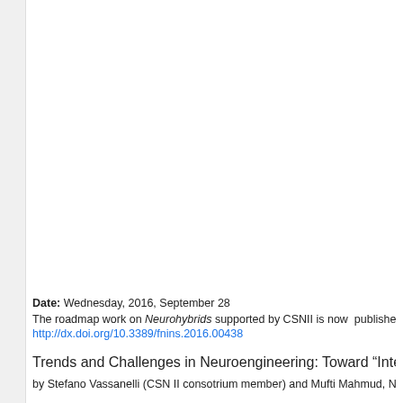Date: Wednesday, 2016, September 28
The roadmap work on Neurohybrids supported by CSNII is now published in th...
http://dx.doi.org/10.3389/fnins.2016.00438
Trends and Challenges in Neuroengineering: Toward "Intelligent" Ne...
by Stefano Vassanelli (CSN II consotrium member) and Mufti Mahmud, NeuroCl...